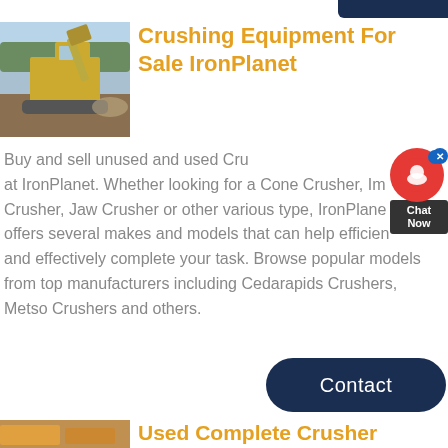[Figure (photo): Large yellow excavator/crushing machine at a quarry or mining site with trees in background]
Crushing Equipment For Sale IronPlanet
Buy and sell unused and used Crushing Equipment at IronPlanet. Whether looking for a Cone Crusher, Impact Crusher, Jaw Crusher or other various type, IronPlanet offers several makes and models that can help efficiently and effectively complete your task. Browse popular models from top manufacturers including Cedarapids Crushers, Metso Crushers and others.
[Figure (screenshot): Live chat widget with red circle icon and Chat Now label]
[Figure (other): Contact button - dark navy rounded rectangle]
[Figure (photo): Crusher equipment at industrial site - partial view at bottom]
Used Complete Crusher